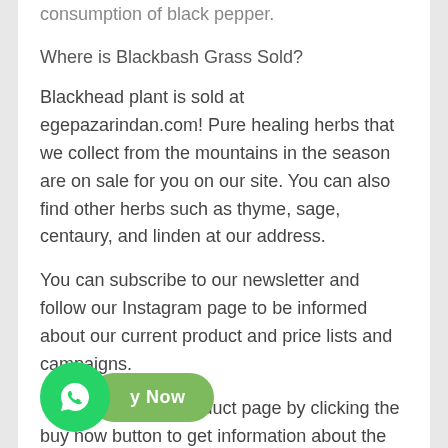consumption of black pepper.
Where is Blackbash Grass Sold?
Blackhead plant is sold at egepazarindan.com! Pure healing herbs that we collect from the mountains in the season are on sale for you on our site. You can also find other herbs such as thyme, sage, centaury, and linden at our address.
You can subscribe to our newsletter and follow our Instagram page to be informed about our current product and price lists and campaigns.
You can visit our product page by clicking the buy now button to get information about the black pepper price and product details.
[Figure (other): WhatsApp icon button (green circle with phone handset) overlapping a green rounded rectangle Buy Now button]